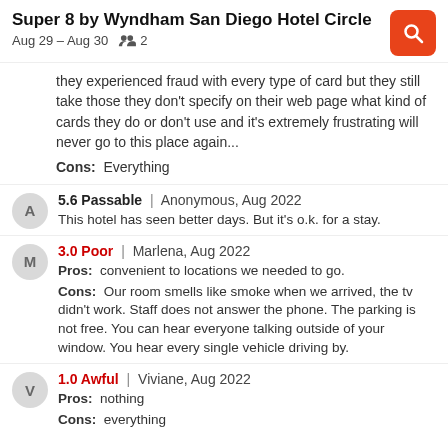Super 8 by Wyndham San Diego Hotel Circle | Aug 29 – Aug 30 | 2 guests
they experienced fraud with every type of card but they still take those they don't specify on their web page what kind of cards they do or don't use and it's extremely frustrating will never go to this place again...
Cons: Everything
5.6 Passable | Anonymous, Aug 2022
This hotel has seen better days. But it's o.k. for a stay.
3.0 Poor | Marlena, Aug 2022
Pros: convenient to locations we needed to go.
Cons: Our room smells like smoke when we arrived, the tv didn't work. Staff does not answer the phone. The parking is not free. You can hear everyone talking outside of your window. You hear every single vehicle driving by.
1.0 Awful | Viviane, Aug 2022
Pros: nothing
Cons: everything